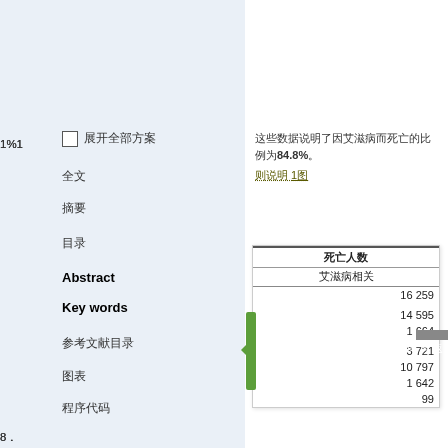□ [Chinese placeholder text]
[Chinese text] 84.8%
[Chinese text] 1[Chinese]
[Chinese] Abstract
[Chinese] Key words
| 死亡人数 | 艾滋病相关 |
| --- | --- |
| 16 259 |
| 14 595 |
| 1 664 |
| 3 721 |
| 10 797 |
| 1 642 |
| 99 |
返回顶部